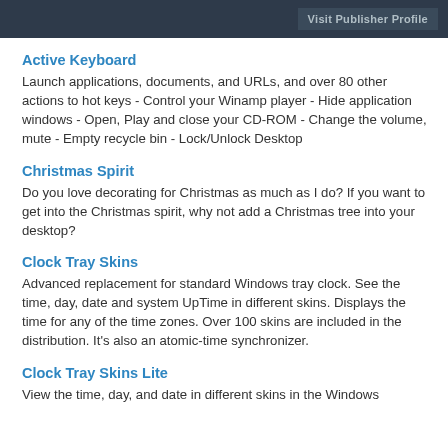Visit Publisher Profile
Active Keyboard
Launch applications, documents, and URLs, and over 80 other actions to hot keys - Control your Winamp player - Hide application windows - Open, Play and close your CD-ROM - Change the volume, mute - Empty recycle bin - Lock/Unlock Desktop
Christmas Spirit
Do you love decorating for Christmas as much as I do? If you want to get into the Christmas spirit, why not add a Christmas tree into your desktop?
Clock Tray Skins
Advanced replacement for standard Windows tray clock. See the time, day, date and system UpTime in different skins. Displays the time for any of the time zones. Over 100 skins are included in the distribution. It's also an atomic-time synchronizer.
Clock Tray Skins Lite
View the time, day, and date in different skins in the Windows